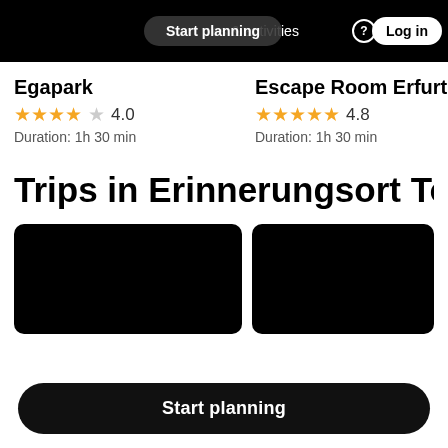Start planning | places & activities | Log in
Egapark
★★★★☆ 4.0
Duration: 1h 30 min
Escape Room Erfurt
★★★★★ 4.8
Duration: 1h 30 min
Trips in Erinnerungsort Topf
[Figure (photo): Two dark/black image cards for trips]
Start planning